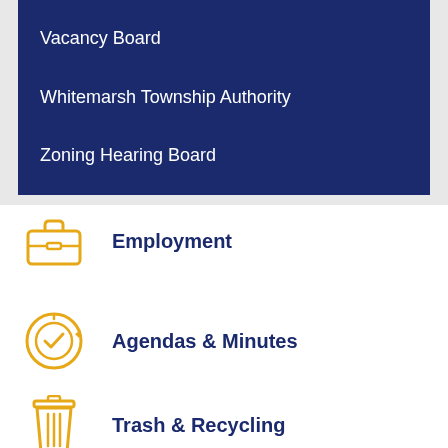Vacancy Board
Whitemarsh Township Authority
Zoning Hearing Board
Employment
Agendas & Minutes
Trash & Recycling